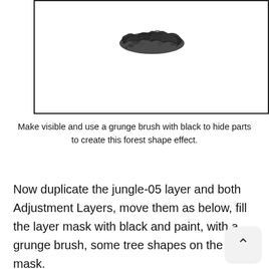[Figure (illustration): A white box with a border containing a small black grunge brush stroke/texture resembling a forest tree shape near the top center of the box.]
Make visible and use a grunge brush with black to hide parts to create this forest shape effect.
Now duplicate the jungle-05 layer and both Adjustment Layers, move them as below, fill the layer mask with black and paint, with a grunge brush, some tree shapes on the layer mask.